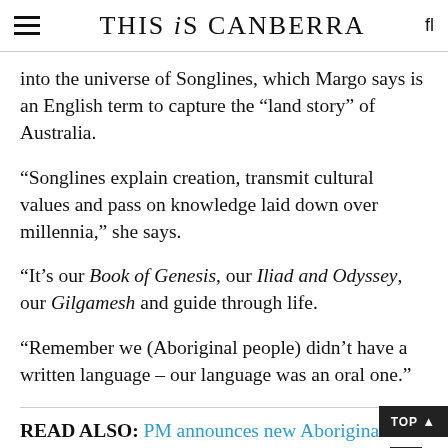THIS iS CANBERRA
into the universe of Songlines, which Margo says is an English term to capture the “land story” of Australia.
“Songlines explain creation, transmit cultural values and pass on knowledge laid down over millennia,” she says.
“It’s our Book of Genesis, our Iliad and Odyssey, our Gilgamesh and guide through life.
“Remember we (Aboriginal people) didn’t have a written language – our language was an oral one.”
READ ALSO: PM announces new Aboriginal and Torres Strait Islander cultural precinct for Canberra